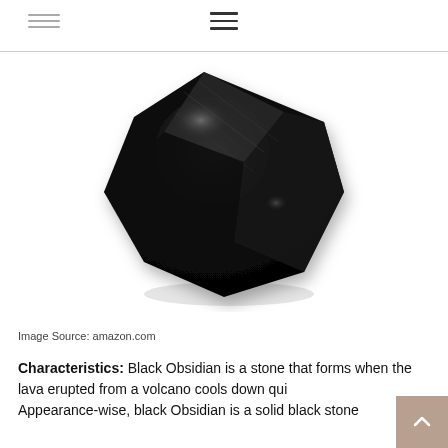Navigation menu header with hamburger icon and nav links
[Figure (photo): A chunk of raw black obsidian stone with a glossy, volcanic glass surface showing reflective highlights, photographed on a white background.]
Image Source: amazon.com
Characteristics: Black Obsidian is a stone that forms when the lava erupted from a volcano cools down qui... Appearance-wise, black Obsidian is a solid black stone